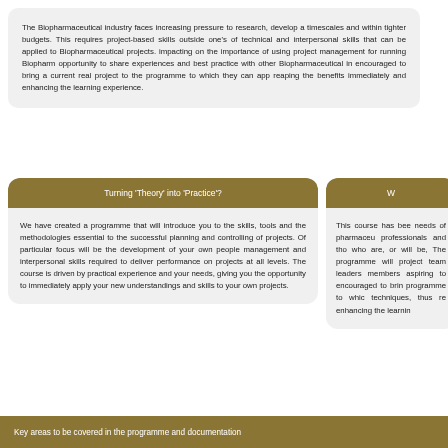The Biopharmaceutical industry faces increasing pressure to research, develop and launch products faster, within shorter timescales and within tighter budgets. This requires project-based skills outside one's specific technical discipline and a combination of technical and interpersonal skills that can be applied to Biopharmaceutical projects. Several key factors are currently impacting on the importance of using project management for running Biopharmaceutical projects. The programme offers an opportunity to share experiences and best practice with other Biopharmaceutical industry professionals. Participants are encouraged to bring a current real project to the programme to which they can apply the programme materials and tools, reaping the benefits immediately and enhancing the learning experience.
Turning 'Theory' into 'Practice'?
We have created a programme that will introduce you to the skills, tools and the methodologies essential to the successful planning and controlling of projects. Of particular focus will be the development of your own people management and interpersonal skills required to deliver performance on projects at all levels. The course is driven by practical experience and your needs, giving you the opportunity to immediately apply your new understandings and skills to your own projects.
W...
This course has been designed to meet the specific needs of pharmaceutical and biopharmaceutical professionals and those from related industries who are, or will be, involved in project work. The programme will be of particular value to project team leaders and managers and team members aspiring to these roles. Participants are encouraged to bring a current real project to the programme to which they can apply the techniques, thus reaping the benefits immediately and enhancing the learning experience.
Key areas to be covered in the programme and documentation